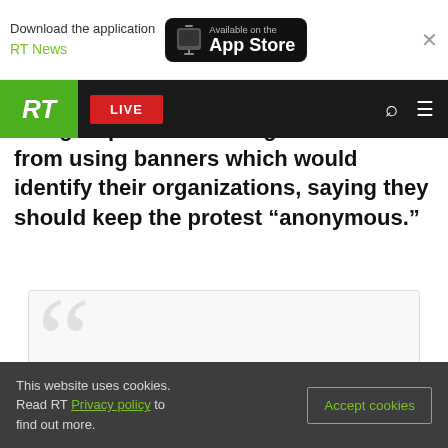[Figure (screenshot): App Store download banner with RT News branding and close button]
[Figure (screenshot): RT News navigation bar with green RT logo, red LIVE button, search and menu icons]
The group has discouraged activists from using banners which would identify their organizations, saying they should keep the protest “anonymous.”
[#MillionMaskMarch] Philippines: "We are not anti-
This website uses cookies. Read RT Privacy policy to find out more.